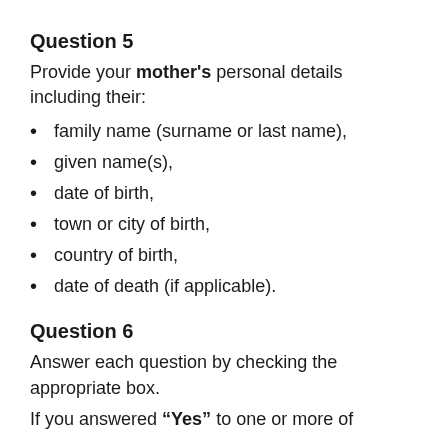Question 5
Provide your mother's personal details including their:
family name (surname or last name),
given name(s),
date of birth,
town or city of birth,
country of birth,
date of death (if applicable).
Question 6
Answer each question by checking the appropriate box.
If you answered “Yes” to one or more of